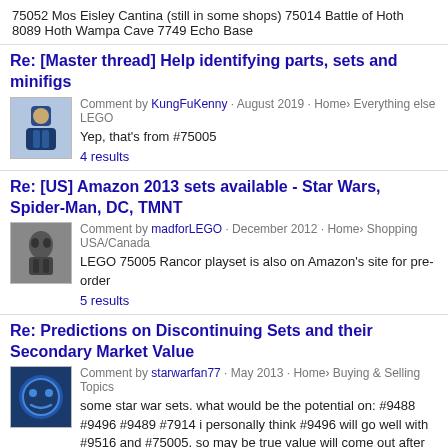75052 Mos Eisley Cantina (still in some shops) 75014 Battle of Hoth 8089 Hoth Wampa Cave 7749 Echo Base
Re: [Master thread] Help identifying parts, sets and minifigs
Comment by KungFuKenny · August 2019 · Home› Everything else LEGO
&#13;Yep, that's from #75005
4 results
Re: [US] Amazon 2013 sets available - Star Wars, Spider-Man, DC, TMNT
Comment by madforLEGO · December 2012 · Home› Shopping USA/Canada
LEGO 75005 Rancor playset is also on Amazon's site for pre-order
5 results
Re: Predictions on Discontinuing Sets and their Secondary Market Value
Comment by starwarfan77 · May 2013 · Home› Buying & Selling Topics
some star war sets. what would be the potential on: #9488 #9496 #9489 #7914 i personally think #9496 will go well with #9516 and #75005. so may be true value will come out after the retirement of #75005 which won't be till end of 2014?